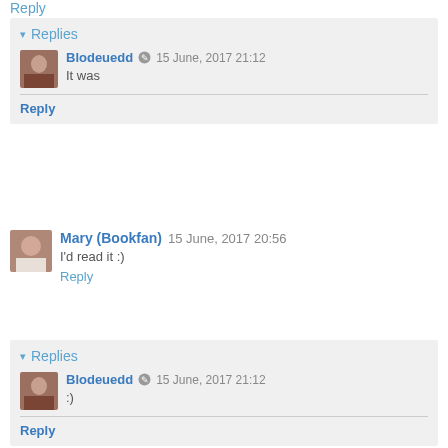Reply
▾ Replies
Blodeuedd ✎ 15 June, 2017 21:12
It was
Reply
Mary (Bookfan) 15 June, 2017 20:56
I'd read it :)
Reply
▾ Replies
Blodeuedd ✎ 15 June, 2017 21:12
:)
Reply